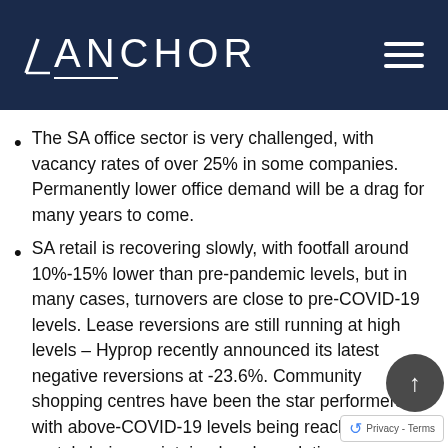ANCHOR
The SA office sector is very challenged, with vacancy rates of over 25% in some companies. Permanently lower office demand will be a drag for many years to come.
SA retail is recovering slowly, with footfall around 10%-15% lower than pre-pandemic levels, but in many cases, turnovers are close to pre-COVID-19 levels. Lease reversions are still running at high levels – Hyprop recently announced its latest negative reversions at -23.6%. Community shopping centres have been the star performers, with above-COVID-19 levels being reached, and rentals being maintained and escalating as per normal. This is being experienced by Arrowhead, Fairvest,